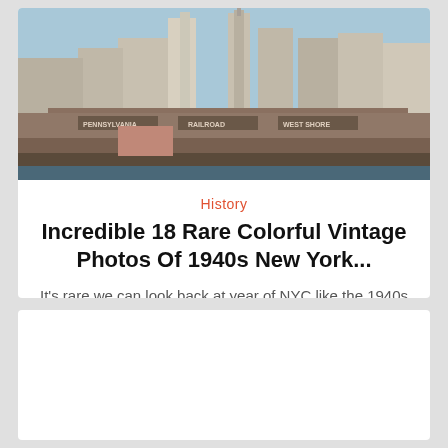[Figure (photo): Vintage color photograph of the New York City skyline circa 1940s, viewed from the water. Shows Pennsylvania Railroad and West Shore railroad terminal/ferry building in the foreground with tall skyscrapers including the Woolworth Building in the background. Blue sky above.]
History
Incredible 18 Rare Colorful Vintage Photos Of 1940s New York...
It's rare we can look back at year of NYC like the 1940s and see it through such sharp...
[Figure (photo): Second article card, mostly blank/white below the fold]